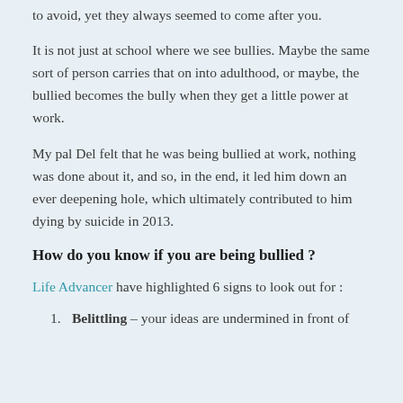to avoid, yet they always seemed to come after you.
It is not just at school where we see bullies. Maybe the same sort of person carries that on into adulthood, or maybe, the bullied becomes the bully when they get a little power at work.
My pal Del felt that he was being bullied at work, nothing was done about it, and so, in the end, it led him down an ever deepening hole, which ultimately contributed to him dying by suicide in 2013.
How do you know if you are being bullied ?
Life Advancer have highlighted 6 signs to look out for :
Belittling – your ideas are undermined in front of